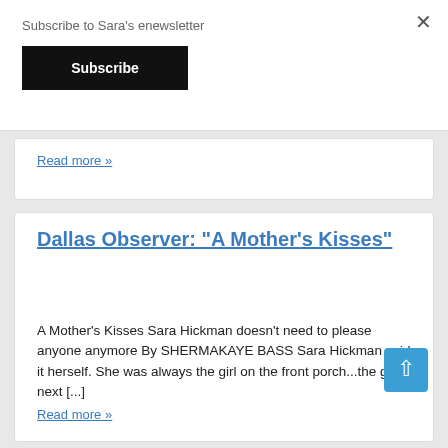Subscribe to Sara’s enewsletter
Subscribe
Read more »
Dallas Observer: “A Mother’s Kisses”
A Mother's Kisses Sara Hickman doesn't need to please anyone anymore By SHERMAKAYE BASS Sara Hickman said it herself. She was always the girl on the front porch...the girl next [...]
Read more »